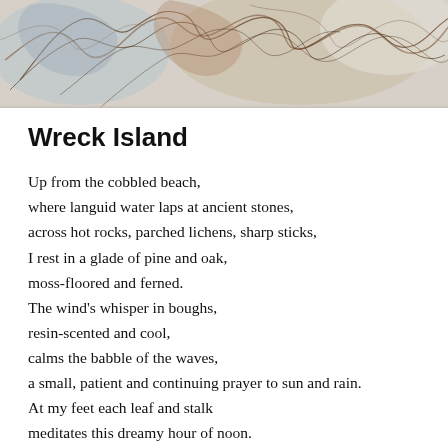[Figure (illustration): Abstract line drawing illustration showing organic, flowing sketched forms with muted earth tones — browns, tans, and blue-grays — suggesting foliage, branches, or coastal natural forms.]
Wreck Island
Up from the cobbled beach,
where languid water laps at ancient stones,
across hot rocks, parched lichens, sharp sticks,
I rest in a glade of pine and oak,
moss-floored and ferned.
The wind’s whisper in boughs,
resin-scented and cool,
calms the babble of the waves,
a small, patient and continuing prayer to sun and rain.
At my feet each leaf and stalk
meditates this dreamy hour of noon.